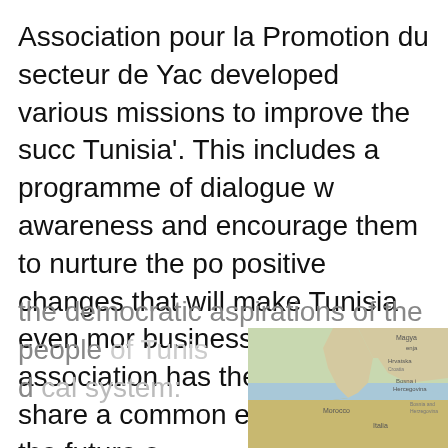Association pour la Promotion du secteur de Yac... developed various missions to improve the succ... Tunisia'. This includes a programme of dialogue w... awareness and encourage them to nurture the po... positive changes that will make Tunisia even mor... businesses. This new association has the support... who share a common enthusiasm for the future o...
William Hague's visit to Tunisia this week shows the democratic aspirations of the people of Tunis... d... cal system: https://www.theguardian.com/world-news/afr... hague-tunisia-opportunity-should-be-seized-not...
[Figure (screenshot): Cookie consent overlay banner with dark background containing text 'This website uses cookies to ensure you get the best experience on our website. Find more in our cookie policy.' and a white 'Got it!' button. Behind the overlay is a map image showing parts of southern Europe and North Africa.]